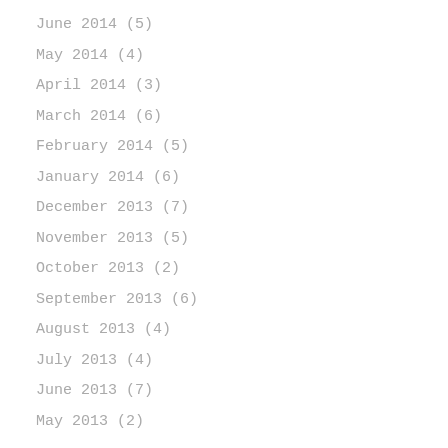June 2014 (5)
May 2014 (4)
April 2014 (3)
March 2014 (6)
February 2014 (5)
January 2014 (6)
December 2013 (7)
November 2013 (5)
October 2013 (2)
September 2013 (6)
August 2013 (4)
July 2013 (4)
June 2013 (7)
May 2013 (2)